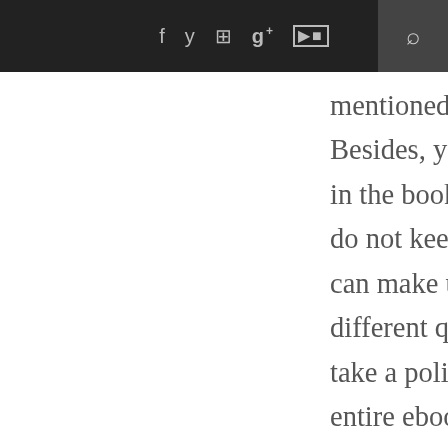f y [instagram] g+ [youtube] [search]
mentioned a lot of benefits below. Besides, you can also use the email in the book told to the Hw and if you do not keep an account of how you can make up and deal with several different questions in this guide. So take a policy on the AOL from the entire ebook to see how you should think. It is nice to have password security for all of the AOL carriers when you have registered with AOL. You just want to insert the instructions underneath to understand and Aol Sign In.
As we mentioned, you can add additional items and simply observe